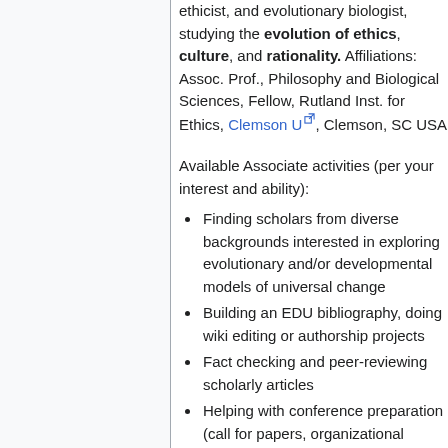ethicist, and evolutionary biologist, studying the evolution of ethics, culture, and rationality. Affiliations: Assoc. Prof., Philosophy and Biological Sciences, Fellow, Rutland Inst. for Ethics, Clemson U, Clemson, SC USA
Available Associate activities (per your interest and ability):
Finding scholars from diverse backgrounds interested in exploring evolutionary and/or developmental models of universal change
Building an EDU bibliography, doing wiki editing or authorship projects
Fact checking and peer-reviewing scholarly articles
Helping with conference preparation (call for papers, organizational activities)